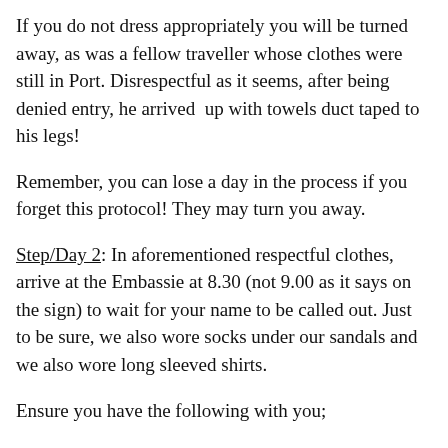If you do not dress appropriately you will be turned away, as was a fellow traveller whose clothes were still in Port. Disrespectful as it seems, after being denied entry, he arrived  up with towels duct taped to his legs!
Remember, you can lose a day in the process if you forget this protocol! They may turn you away.
Step/Day 2: In aforementioned respectful clothes, arrive at the Embassie at 8.30 (not 9.00 as it says on the sign) to wait for your name to be called out. Just to be sure, we also wore socks under our sandals and we also wore long sleeved shirts.
Ensure you have the following with you;